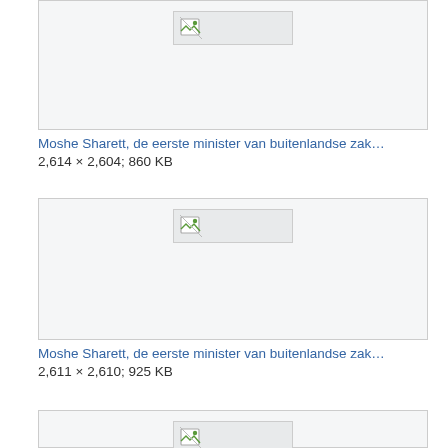[Figure (other): Broken/placeholder image thumbnail with grey background and broken image icon]
Moshe Sharett, de eerste minister van buitenlandse zak…
2,614 × 2,604; 860 KB
[Figure (other): Broken/placeholder image thumbnail with grey background and broken image icon]
Moshe Sharett, de eerste minister van buitenlandse zak…
2,611 × 2,610; 925 KB
[Figure (other): Broken/placeholder image thumbnail with grey background and broken image icon (partially visible)]